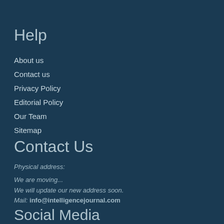Help
About us
Contact us
Privacy Policy
Editorial Policy
Our Team
Sitemap
Contact Us
Physical address:
We are moving...
We will update our new address soon.
Mail: info@intelligencejournal.com
Social Media
[Figure (logo): Social media icons: Facebook, Twitter, LinkedIn]